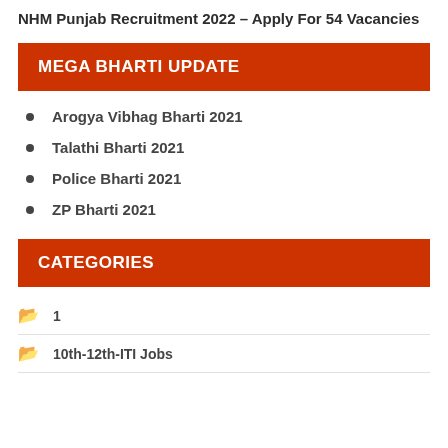NHM Punjab Recruitment 2022 – Apply For 54 Vacancies
MEGA BHARTI UPDATE
Arogya Vibhag Bharti 2021
Talathi Bharti 2021
Police Bharti 2021
ZP Bharti 2021
CATEGORIES
1
10th-12th-ITI Jobs